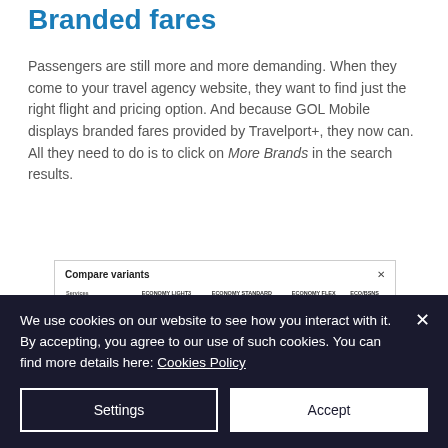Branded fares
Passengers are still more and more demanding. When they come to your travel agency website, they want to find just the right flight and pricing option. And because GOL Mobile displays branded fares provided by Travelport+, they now can. All they need to do is to click on More Brands in the search results.
[Figure (screenshot): Screenshot of a 'Compare variants' dialog showing a table with rows: Checked baggage, Carry on baggage, Rebooking, Refunds, Seat reservation and columns: Services, Economy Light3, Economy Standard, Economy Flex, Eco/Bsns. Cells contain red check icons and gray cross icons.]
We use cookies on our website to see how you interact with it. By accepting, you agree to our use of such cookies. You can find more details here: Cookies Policy
Settings
Accept